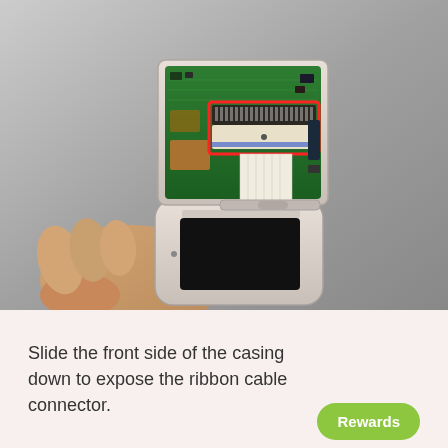[Figure (photo): A hand holds a Game Boy Color device with its screen lid open, exposing the internal circuit board (green PCB). A red rectangle highlights the ribbon cable connector area on the circuit board. A flat white ribbon cable runs from the connector down into the lower body of the device.]
Slide the front side of the casing down to expose the ribbon cable connector.